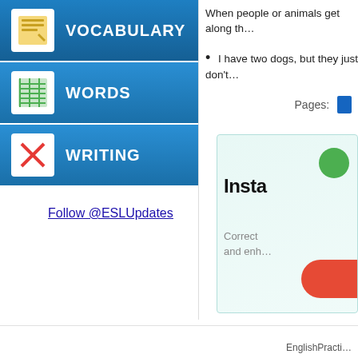VOCABULARY
WORDS
WRITING
When people or animals get along th…
I have two dogs, but they just don't…
Pages:
[Figure (infographic): Advertisement box with green circle icon, bold 'Insta' text, gray description 'Correct… and enh…', and red button]
Follow @ESLUpdates
EnglishPracti…